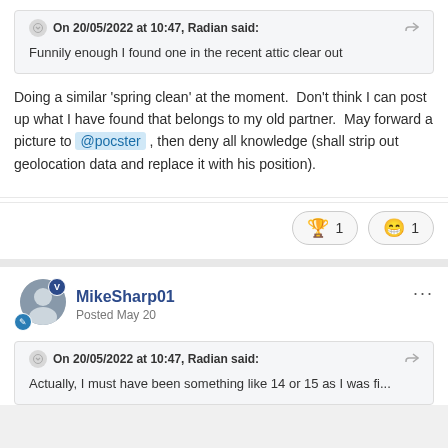On 20/05/2022 at 10:47, Radian said:
Funnily enough I found one in the recent attic clear out
Doing a similar 'spring clean' at the moment.  Don't think I can post up what I have found that belongs to my old partner.  May forward a picture to @pocster , then deny all knowledge (shall strip out geolocation data and replace it with his position).
1 (trophy reaction) 1 (haha reaction)
MikeSharp01
Posted May 20
On 20/05/2022 at 10:47, Radian said:
Actually, I must have been something like 14 or 15 as I was fi...